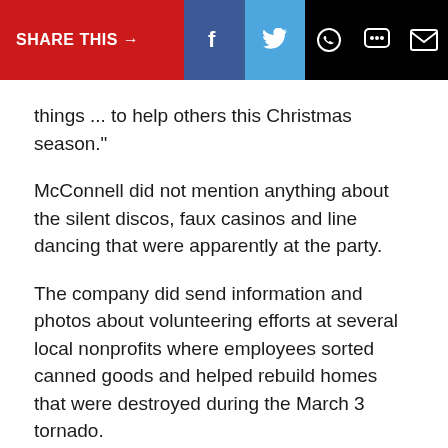SHARE THIS → [Facebook] [Twitter] [WhatsApp] [Chat] [Email]
things ... to help others this Christmas season."
McConnell did not mention anything about the silent discos, faux casinos and line dancing that were apparently at the party.
The company did send information and photos about volunteering efforts at several local nonprofits where employees sorted canned goods and helped rebuild homes that were destroyed during the March 3 tornado.
"Serving others is crucial to our mission at Ramsey. This